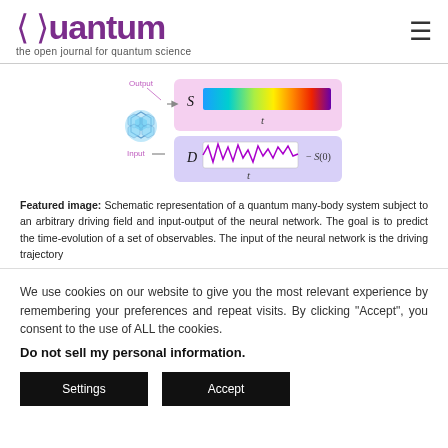Quantum – the open journal for quantum science
[Figure (schematic): Schematic of a quantum many-body system with input (neural network node diagram) and output (S and D plots over time t). Top row shows S vs t as a colormap heatmap bar. Bottom row shows D vs t as an oscillating waveform labeled - S(0).]
Featured image: Schematic representation of a quantum many-body system subject to an arbitrary driving field and input-output of the neural network. The goal is to predict the time-evolution of a set of observables. The input of the neural network is the driving trajectory
We use cookies on our website to give you the most relevant experience by remembering your preferences and repeat visits. By clicking “Accept”, you consent to the use of ALL the cookies.
Do not sell my personal information.
Settings
Accept